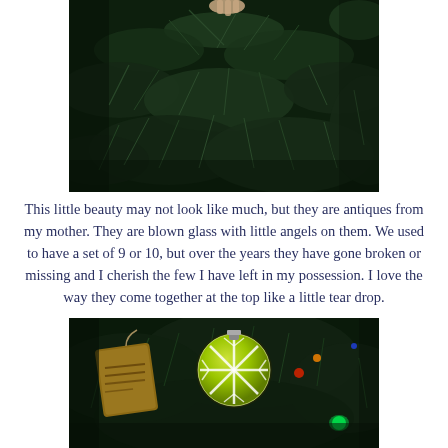[Figure (photo): Close-up photo of dark green pine/fir tree branches, shot with shallow depth of field. A hand is partially visible at the top touching the branches.]
This little beauty may not look like much, but they are antiques from my mother. They are blown glass with little angels on them. We used to have a set of 9 or 10, but over the years they have gone broken or missing and I cherish the few I have left in my possession. I love the way they come together at the top like a little tear drop.
[Figure (photo): Photo of a decorated Christmas tree with dark green needles, featuring a yellow-green ornament ball with a white snowflake overlay, colorful lights, and a rustic wooden tag ornament on the left side.]